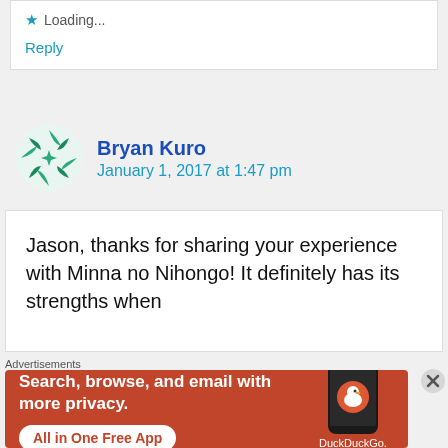★ Loading...
Reply
Bryan Kuro
January 1, 2017 at 1:47 pm
Jason, thanks for sharing your experience with Minna no Nihongo! It definitely has its strengths when
Advertisements
[Figure (screenshot): DuckDuckGo advertisement banner with orange background showing 'Search, browse, and email with more privacy. All in One Free App' text and a phone image with DuckDuckGo logo]